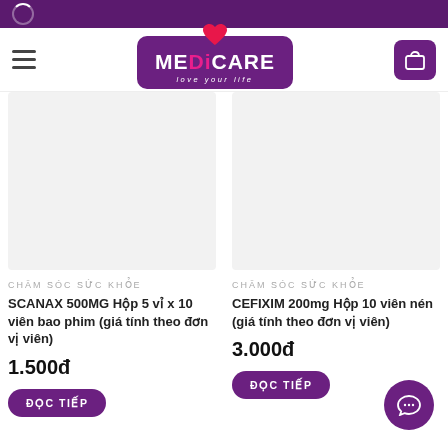[Figure (logo): Medicare pharmacy logo with heart icon, purple background, tagline 'love your life']
CHĂM SÓC SỨC KHỎE
SCANAX 500MG Hộp 5 vỉ x 10 viên bao phim (giá tính theo đơn vị viên)
1.500đ
ĐỌC TIẾP
CHĂM SÓC SỨC KHỎE
CEFIXIM 200mg Hộp 10 viên nén (giá tính theo đơn vị viên)
3.000đ
ĐỌC TIẾP